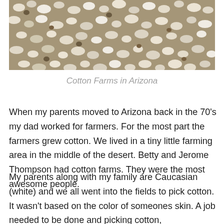[Figure (photo): Aerial or close-up view of a cotton field with white cotton bolls covering the plants]
Cotton Farms in Arizona
When my parents moved to Arizona back in the 70's my dad worked for farmers. For the most part the farmers grew cotton. We lived in a tiny little farming area in the middle of the desert. Betty and Jerome Thompson had cotton farms. They were the most awesome people.
My parents along with my family are Caucasian (white) and we all went into the fields to pick cotton. It wasn't based on the color of someones skin. A job needed to be done and picking cotton, weeding,tromping and all of the other things that needed to be done were done by everyone. I don't even think there